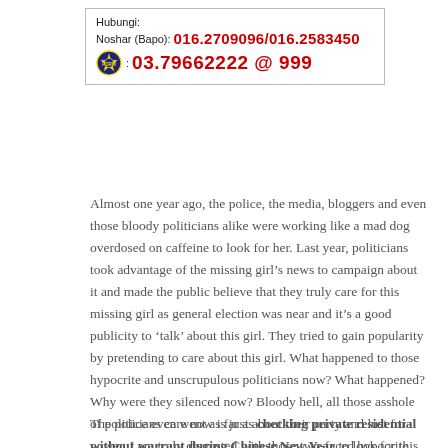[Figure (other): Contact information box with Malaysian police logo, showing phone numbers in red: 016.2709096/016.2583450 and 03.79662222 @ 999, with labels Hubungi: and Noshar (Bapo):]
Almost one year ago, the police, the media, bloggers and even those bloody politicians alike were working like a mad dog overdosed on caffeine to look for her. Last year, politicians took advantage of the missing girl’s news to campaign about it and made the public believe that they truly care for this missing girl as general election was near and it’s a good publicity to ‘talk’ about this girl. They tried to gain popularity by pretending to care about this girl. What happened to those hypocrite and unscrupulous politicians now? What happened? Why were they silenced now? Bloody hell, all those asshole of politicians care now is just about their party and lust for power. I am truly disgusted with those two-faced hypocrite bastards.
The police even went as far as checking private residential without warrant during Chinese New Year to look for this girl,which I seriously think is damn wrong as searching for